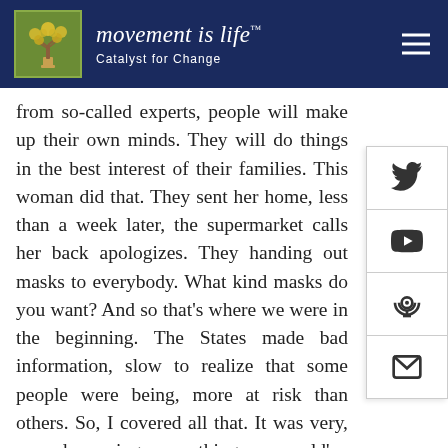movement is life™ — Catalyst for Change
from so-called experts, people will make up their own minds. They will do things in the best interest of their families. This woman did that. They sent her home, less than a week later, the supermarket calls her back apologizes. They handing out masks to everybody. What kind masks do you want? And so that's where we were in the beginning. The States made bad information, slow to realize that some people were being, more at risk than others. So, I covered all that. It was very, very depressing many things we could've and should've done differently.